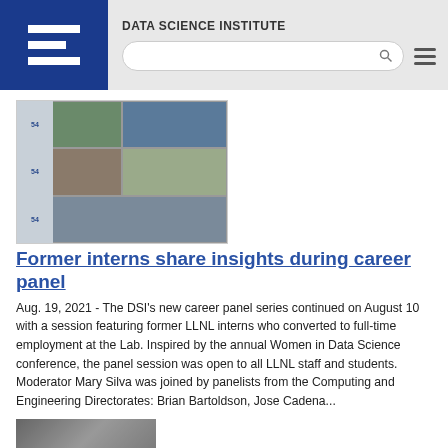DATA SCIENCE INSTITUTE
[Figure (screenshot): Video call screenshot showing four participants in a grid layout, appearing to be a virtual panel session]
Former interns share insights during career panel
Aug. 19, 2021 - The DSI's new career panel series continued on August 10 with a session featuring former LLNL interns who converted to full-time employment at the Lab. Inspired by the annual Women in Data Science conference, the panel session was open to all LLNL staff and students. Moderator Mary Silva was joined by panelists from the Computing and Engineering Directorates: Brian Bartoldson, Jose Cadena...
[Figure (photo): Partial thumbnail image at bottom of page]